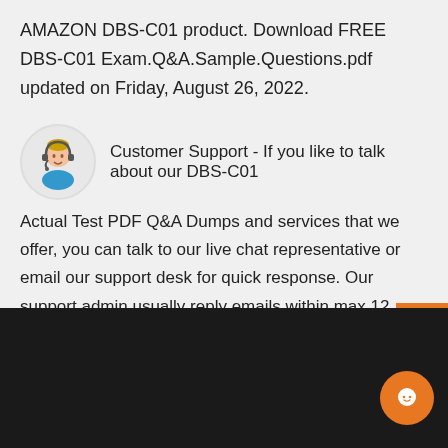AMAZON DBS-C01 product. Download FREE DBS-C01 Exam.Q&A.Sample.Questions.pdf updated on Friday, August 26, 2022.
[Figure (illustration): Customer support avatar icon — person with headset in a circle]
Customer Support - If you like to talk about our DBS-C01 Actual Test PDF Q&A Dumps and services that we offer, you can talk to our live chat representative or email our support desk for quick response. Our support admin usually reply emails within max 12 hours.
ABOUT US   FAQ   SOCIAL NETWORK   NEW RELEASES